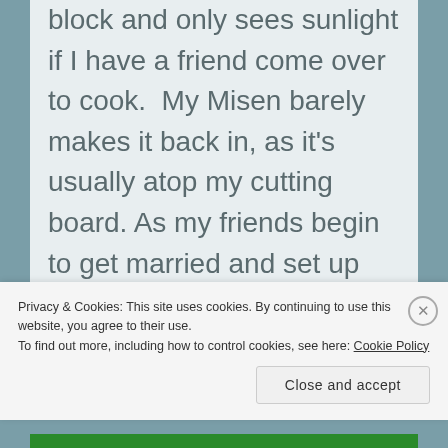block and only sees sunlight if I have a friend come over to cook. My Misen barely makes it back in, as it's usually atop my cutting board. As my friends begin to get married and set up their homes, it's the number tool I recommend for their kitchen. Because even if they can afford to splurge on a $300+ knife, why bother? I tell them to
Privacy & Cookies: This site uses cookies. By continuing to use this website, you agree to their use.
To find out more, including how to control cookies, see here: Cookie Policy
Close and accept